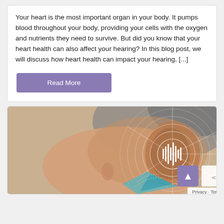Your heart is the most important organ in your body. It pumps blood throughout your body, providing your cells with the oxygen and nutrients they need to survive. But did you know that your heart health can also affect your hearing? In this blog post, we will discuss how heart health can impact your hearing, [...]
Read More
[Figure (illustration): Side profile illustration of an elderly man's head with a stylized ear diagram showing sound wave concentric circles and hearing analysis graphics overlaid on the ear area, with teal/blue and orange colors]